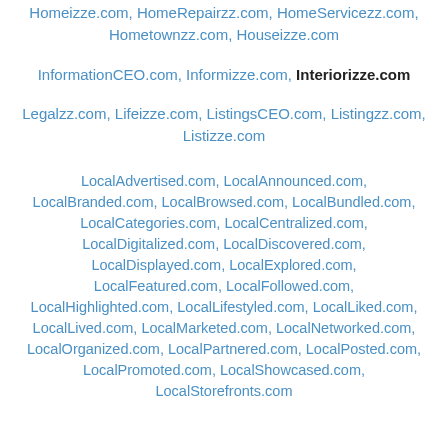Homeizze.com, HomeRepairzz.com, HomeServicezz.com, Hometownzz.com, Houseizze.com
InformationCEO.com, Informizze.com, Interiorizze.com
Legalzz.com, Lifeizze.com, ListingsCEO.com, Listingzz.com, Listizze.com
LocalAdvertised.com, LocalAnnounced.com, LocalBranded.com, LocalBrowsed.com, LocalBundled.com, LocalCategories.com, LocalCentralized.com, LocalDigitalized.com, LocalDiscovered.com, LocalDisplayed.com, LocalExplored.com, LocalFeatured.com, LocalFollowed.com, LocalHighlighted.com, LocalLifestyled.com, LocalLiked.com, LocalLived.com, LocalMarketed.com, LocalNetworked.com, LocalOrganized.com, LocalPartnered.com, LocalPosted.com, LocalPromoted.com, LocalShowcased.com, LocalStorefronts.com